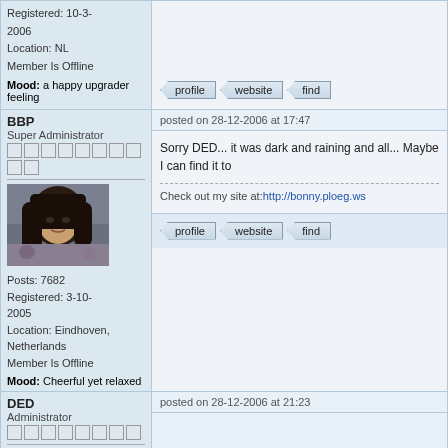Registered: 10-3-2006
Location: NL
Member Is Offline
Mood: a happy upgrader feeling
[Figure (other): Profile, website, and find buttons]
BBP
Super Administrator
posted on 28-12-2006 at 17:47
[Figure (photo): Avatar photo of user BBP - dark haired person]
Posts: 7682
Registered: 3-10-2005
Location: Eindhoven, Netherlands
Member Is Offline
Mood: Cheerful yet relaxed
Sorry DED... it was dark and raining and all... Maybe I can find it to
Check out my site at:http://bonny.ploeg.ws
[Figure (other): Profile, website, and find buttons]
DED
Administrator
posted on 28-12-2006 at 21:23
[Figure (illustration): Cartoon avatar of DED user - character with hat]